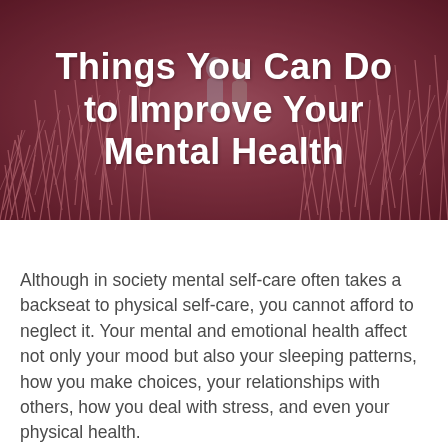[Figure (photo): Background photo of pink/red feathery grass or plant texture with two people visible in the background, serving as hero image behind the title text]
Things You Can Do to Improve Your Mental Health
Although in society mental self-care often takes a backseat to physical self-care, you cannot afford to neglect it. Your mental and emotional health affect not only your mood but also your sleeping patterns, how you make choices, your relationships with others, how you deal with stress, and even your physical health.